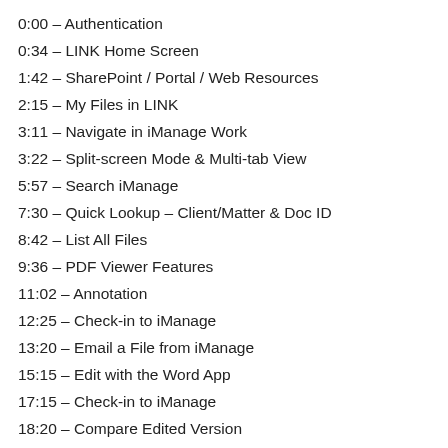0:00 – Authentication
0:34 – LINK Home Screen
1:42 – SharePoint / Portal / Web Resources
2:15 – My Files in LINK
3:11 – Navigate in iManage Work
3:22 – Split-screen Mode & Multi-tab View
5:57 – Search iManage
7:30 – Quick Lookup – Client/Matter & Doc ID
8:42 – List All Files
9:36 – PDF Viewer Features
11:02 – Annotation
12:25 – Check-in to iManage
13:20 – Email a File from iManage
15:15 – Edit with the Word App
17:15 – Check-in to iManage
18:20 – Compare Edited Version